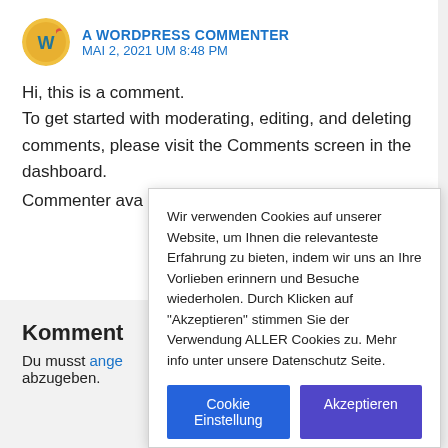A WORDPRESS COMMENTER
MAI 2, 2021 UM 8:48 PM
Hi, this is a comment.
To get started with moderating, editing, and deleting comments, please visit the Comments screen in the dashboard.
Commenter ava
Komment
Du musst ange abzugeben.
Wir verwenden Cookies auf unserer Website, um Ihnen die relevanteste Erfahrung zu bieten, indem wir uns an Ihre Vorlieben erinnern und Besuche wiederholen. Durch Klicken auf "Akzeptieren" stimmen Sie der Verwendung ALLER Cookies zu. Mehr info unter unsere Datenschutz Seite.
Cookie Einstellung   Akzeptieren